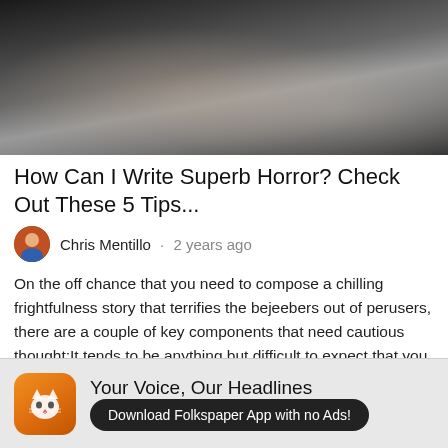[Figure (photo): Dark moody photo of a person holding a phone, black and white tones]
How Can I Write Superb Horror? Check Out These 5 Tips...
Chris Mentillo · 2 years ago
On the off chance that you need to compose a chilling frightfulness story that terrifies the bejeebers out of perusers, there are a couple of key components that need cautious thought:It tends to be anything but difficult to expect that you should simply push the cutoff points. In any case, if you read the absolute best writers in the class, you will see that more
[Figure (logo): Folkspaper app icon — orange rounded square with cat face]
Your Voice, Our Headlines
Download Folkspaper App with no Ads!